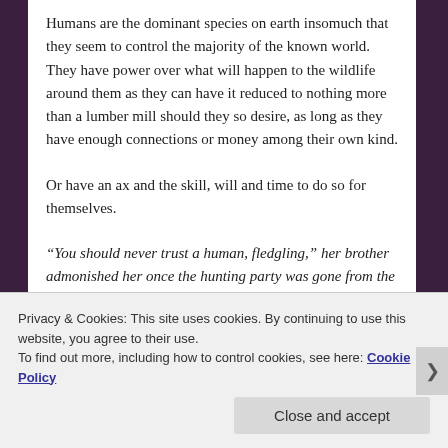Humans are the dominant species on earth insomuch that they seem to control the majority of the known world. They have power over what will happen to the wildlife around them as they can have it reduced to nothing more than a lumber mill should they so desire, as long as they have enough connections or money among their own kind.
Or have an ax and the skill, will and time to do so for themselves.
“You should never trust a human, fledgling,” her brother admonished her once the hunting party was gone from the wood.”
Privacy & Cookies: This site uses cookies. By continuing to use this website, you agree to their use.
To find out more, including how to control cookies, see here: Cookie Policy